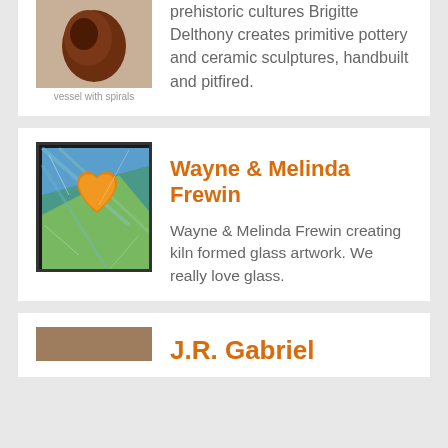[Figure (photo): Brown ceramic vessel/pottery piece against light background]
vessel with spirals
prehistoric cultures Brigitte Delthony creates primitive pottery and ceramic sculptures, handbuilt and pitfired.
[Figure (photo): Kiln formed glass artwork showing an orange heart shape on blue-green background with dark frame]
Wayne & Melinda Frewin
Wayne & Melinda Frewin creating kiln formed glass artwork. We really love glass.
[Figure (photo): Partial image, brownish rectangle, J.R. Gabriel artwork thumbnail]
J.R. Gabriel